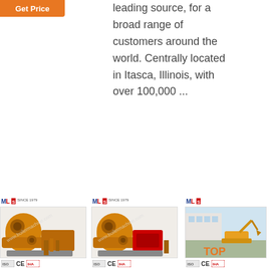[Figure (screenshot): Orange 'Get Price' button at top left]
leading source, for a broad range of customers around the world. Centrally located in Itasca, Illinois, with over 100,000 ...
[Figure (photo): 24/7 Online customer service agent panel with chat and quotation button]
[Figure (screenshot): Orange 'Get Price' button]
[Figure (photo): Industrial boiler/pump machine product image 1 with MLS logo and certifications]
[Figure (photo): Industrial boiler/pump machine product image 2 with MLS logo and certifications]
[Figure (photo): Construction equipment yard photo with TOP branding and MLS certifications]